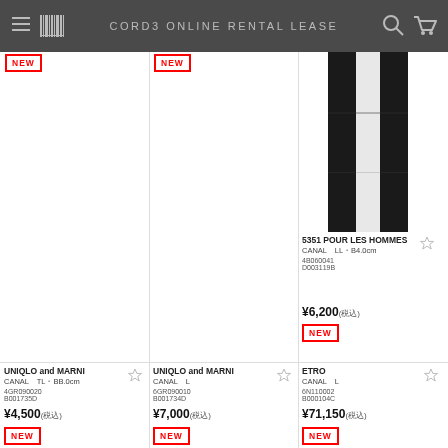CORD3 ONLINE RENTAL LEASE
[Figure (screenshot): NEW badge for first product (top left, truncated)]
[Figure (screenshot): NEW badge for second product (top middle, truncated)]
[Figure (photo): Product photo for 5351 POUR LES HOMMES item, showing black and white garment stripes]
5351 POUR LES HOMMES
CANAL　LL・B4.0cm
4B060041
D003119B
¥6,200(税込)
NEW
UNIQLO and MARNI
CANAL　TL・BB.0cm
4GR090020
B001735D
¥4,500(税込)
NEW
UNIQLO and MARNI
CANAL　L
6GR090010
B001734D
¥7,000(税込)
NEW
ETRO
CANAL　L
6N110002
B000104C
¥71,150(税込)
NEW